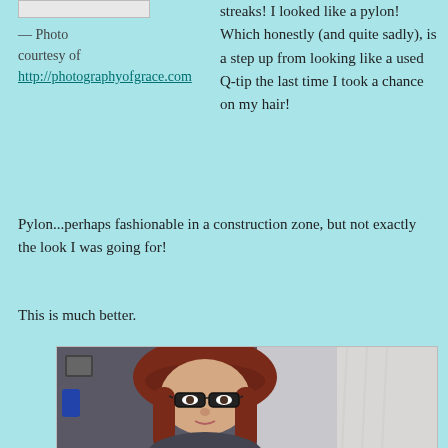[Figure (photo): Top of a photo placeholder (white box, partially visible at top)]
— Photo courtesy of http://photographyofgrace.com
streaks! I looked like a pylon! Which honestly (and quite sadly), is a step up from looking like a used Q-tip the last time I took a chance on my hair!
Pylon...perhaps fashionable in a construction zone, but not exactly the look I was going for!
This is much better.
[Figure (photo): Photo of a woman with reddish-brown hair, glasses, and bangs, wearing a dark top, standing near a window with sheer curtains.]